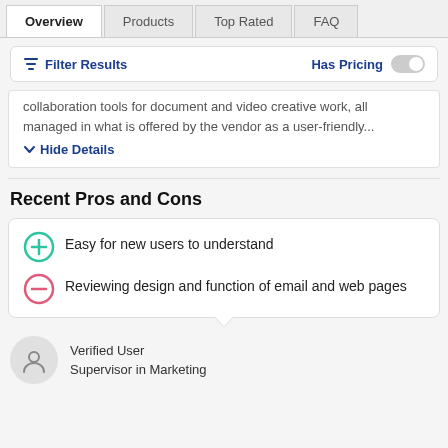Overview | Products | Top Rated | FAQ
Filter Results | Has Pricing
collaboration tools for document and video creative work, all managed in what is offered by the vendor as a user-friendly...
Hide Details
Recent Pros and Cons
Easy for new users to understand
Reviewing design and function of email and web pages
Verified User
Supervisor in Marketing